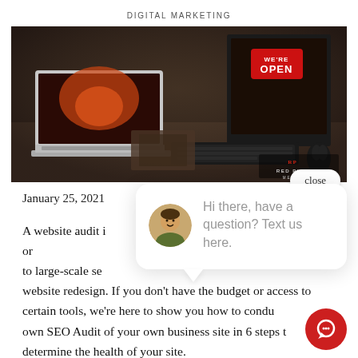DIGITAL MARKETING
[Figure (photo): Dark moody photo of a desktop setup with a MacBook laptop, a large monitor displaying an OPEN sign, keyboard, mouse, and Red Pick Media logo watermark in bottom right corner.]
close
January 25, 2021
A website audit is ... to large-scale se... website redesign. If you don't have the budget or access to certain tools, we're here to show you how to condu... own SEO Audit of your own business site in 6 steps to... determine the health of your site.
[Figure (screenshot): Chat popup with avatar photo of a man and text: Hi there, have a question? Text us here. Red circular chat button with speech bubble icon at bottom right.]